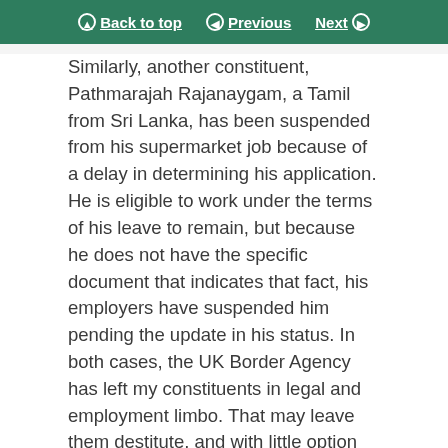Back to top | Previous | Next
Similarly, another constituent, Pathmarajah Rajanaygam, a Tamil from Sri Lanka, has been suspended from his supermarket job because of a delay in determining his application. He is eligible to work under the terms of his leave to remain, but because he does not have the specific document that indicates that fact, his employers have suspended him pending the update in his status. In both cases, the UK Border Agency has left my constituents in legal and employment limbo. That may leave them destitute, and with little option other than to enter the black economy, where they risk being exploited.
My Tamil constituents as a whole have a broader complaint to make to the Government. They